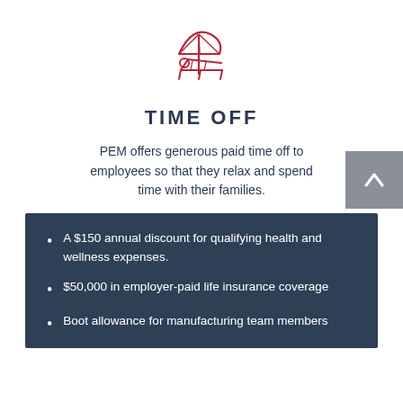[Figure (illustration): Red line-art icon of a beach umbrella and lounge chair]
TIME OFF
PEM offers generous paid time off to employees so that they relax and spend time with their families.
A $150 annual discount for qualifying health and wellness expenses.
$50,000 in employer-paid life insurance coverage
Boot allowance for manufacturing team members